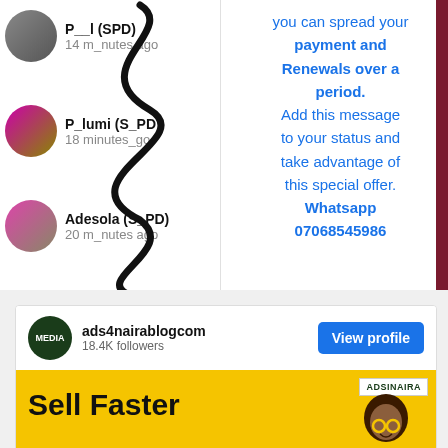[Figure (screenshot): WhatsApp-style status viewer showing three user entries: 'Paul (SPD) 14 minutes ago', 'Pelumi (SPD) 18 minutes ago', 'Adesola (SPD) 20 minutes ago' on the left, with a promotional message on the right in blue text about spreading payment and Renewals over a period, with WhatsApp number 07068545986]
payment and Renewals over a period. Add this message to your status and take advantage of this special offer. Whatsapp 07068545986
[Figure (screenshot): Instagram-style profile bar for ads4nairablogcom with 18.4K followers and a View profile button, followed by a yellow ad banner saying Sell Faster and Meet New Customers with ADSINAIRA logo]
ads4nairablogcom
18.4K followers
Sell Faster
Meet New Customers